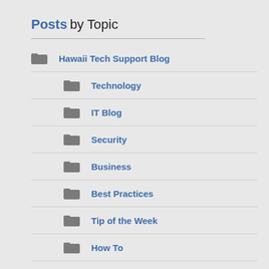Posts by Topic
Hawaii Tech Support Blog
Technology
IT Blog
Security
Business
Best Practices
Tip of the Week
How To
Cloud